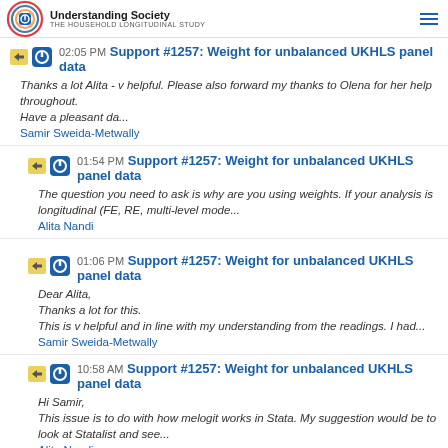Understanding Society | THE HOUSEHOLD LONGITUDINAL STUDY
02:05 PM Support #1257: Weight for unbalanced UKHLS panel data
Thanks a lot Alita - v helpful. Please also forward my thanks to Olena for her help throughout.
Have a pleasant da...
Samir Sweida-Metwally
01:54 PM Support #1257: Weight for unbalanced UKHLS panel data
The question you need to ask is why are you using weights. If your analysis is longitudinal (FE, RE, multi-level mode...
Alita Nandi
01:06 PM Support #1257: Weight for unbalanced UKHLS panel data
Dear Alita,
Thanks a lot for this.
This is v helpful and in line with my understanding from the readings. I had...
Samir Sweida-Metwally
10:58 AM Support #1257: Weight for unbalanced UKHLS panel data
Hi Samir,
This issue is to do with how melogit works in Stata.
My suggestion would be to look at Statalist and see...
Alita Nandi